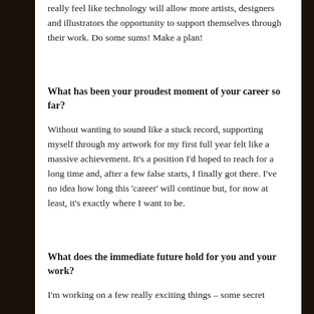really feel like technology will allow more artists, designers and illustrators the opportunity to support themselves through their work. Do some sums! Make a plan!
What has been your proudest moment of your career so far?
Without wanting to sound like a stuck record, supporting myself through my artwork for my first full year felt like a massive achievement. It's a position I'd hoped to reach for a long time and, after a few false starts, I finally got there. I've no idea how long this 'career' will continue but, for now at least, it's exactly where I want to be.
What does the immediate future hold for you and your work?
I'm working on a few really exciting things – some secret